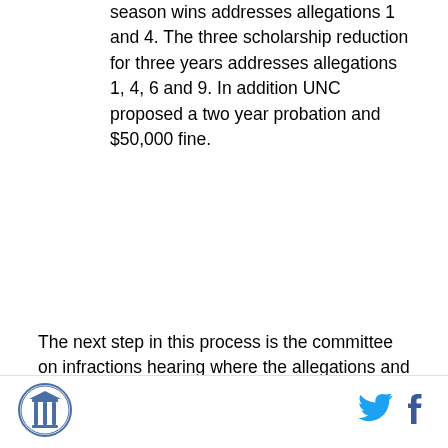season wins addresses allegations 1 and 4. The three scholarship reduction for three years addresses allegations 1, 4, 6 and 9. In addition UNC proposed a two year probation and $50,000 fine.
The next step in this process is the committee on infractions hearing where the allegations and UNC's response will be hashed out. Chancellor Holden Thorp, AD Dick Baddour and interim football coach Everett Withers will appear before the committee. The first two we knew about but Wither is a surprise. The NCAA requires the current football coach to attend which means Withers and not Butch Davis which would have been really awkward.
[Figure (logo): Circular logo with a column/pillar icon inside, dark blue outline]